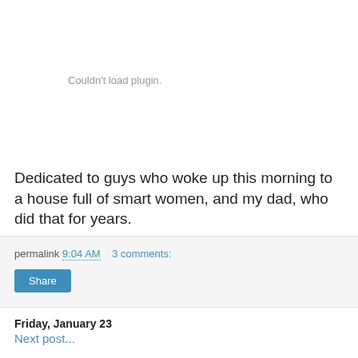[Figure (other): Plugin embed area showing 'Couldn't load plugin.' error message in gray text]
Dedicated to guys who woke up this morning to a house full of smart women, and my dad, who did that for years.
permalink 9:04 AM   3 comments:
Share
Friday, January 23
Next post link (partially visible)